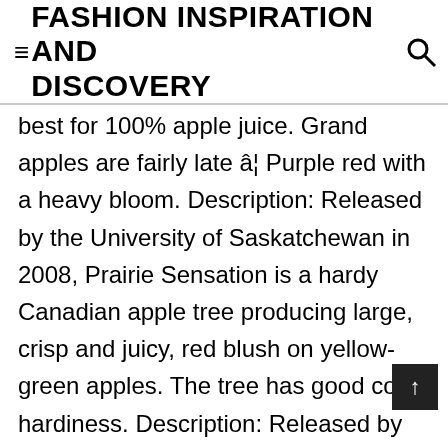FASHION INSPIRATION AND DISCOVERY
best for 100% apple juice. Grand apples are fairly late â¦ Purple red with a heavy bloom. Description: Released by the University of Saskatchewan in 2008, Prairie Sensation is a hardy Canadian apple tree producing large, crisp and juicy, red blush on yellow-green apples. The tree has good cold hardiness. Description: Released by the University of Saskatchewan in 2008, This list details: Regent - Zone 3 Comparable to Red Delicious. © 2019 COUNTRYSIDE LANDSCAPES & GARDEN CENTRE. It finds its origin â¦ It doesn't Brown